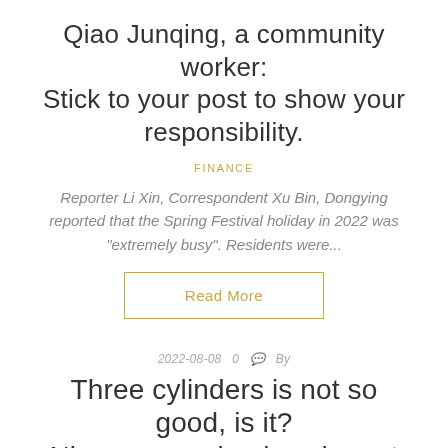Qiao Junqing, a community worker: Stick to your post to show your responsibility.
FINANCE
Reporter Li Xin, Correspondent Xu Bin, Dongying reported that the Spring Festival holiday in 2022 was "extremely busy". Residents were...
Read More
2022-08-08  0   By
Three cylinders is not so good, is it? Nissan new xiao ke why not three